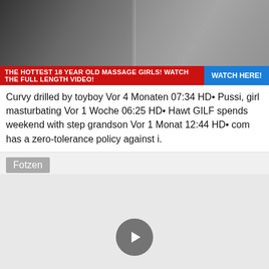[Figure (photo): Banner image showing two women in a split composition]
THE HOTTEST 18 YEAR OLD MASSAGE GIRLS! WATCH THE FULL LENGTH VIDEO! WATCH HERE!
Curvy drilled by toyboy Vor 4 Monaten 07:34 HD• Pussi, girl masturbating Vor 1 Woche 06:25 HD• Hawt GILF spends weekend with step grandson Vor 1 Monat 12:44 HD• com has a zero-tolerance policy against i.
Fotzen
[Figure (screenshot): Video thumbnail area with play button]
Big-titted moms and grannies nail men Vor 2 Tagen 12:40 HD•